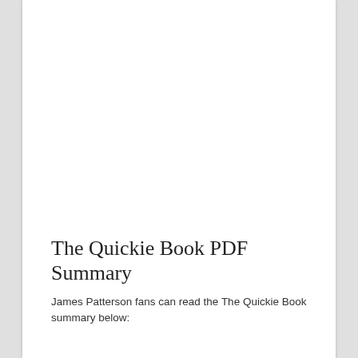The Quickie Book PDF Summary
James Patterson fans can read the The Quickie Book summary below: